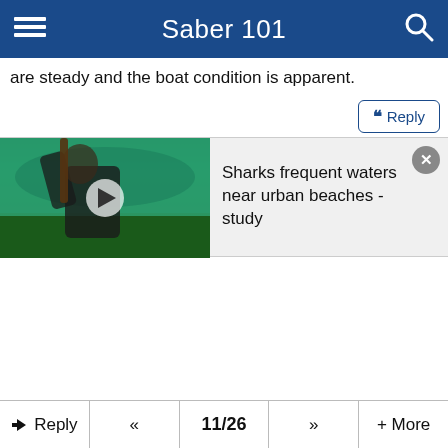Saber 101
are steady and the boat condition is apparent.
[Figure (screenshot): Video thumbnail showing an underwater scene with a person in dark clothing grabbing a pole or rod near green aquatic grass. A play button is overlaid in the center. Adjacent to the thumbnail is a card with the title 'Sharks frequent waters near urban beaches - study' and a close (X) button.]
Reply  «  11/26  »  + More